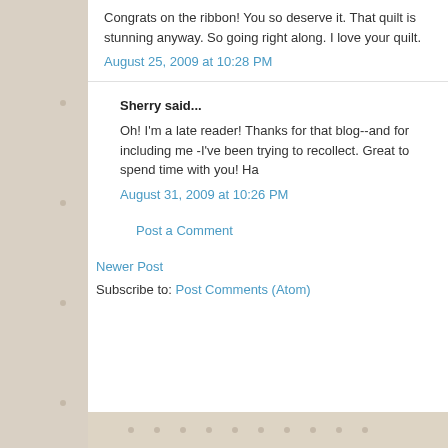Congrats on the ribbon! You so deserve it. That quilt is stunning anyway. So going right along. I love your quilt.
August 25, 2009 at 10:28 PM
Sherry said...
Oh! I'm a late reader! Thanks for that blog--and for including me -I've been trying to recollect. Great to spend time with you! Ha
August 31, 2009 at 10:26 PM
Post a Comment
Newer Post
Subscribe to: Post Comments (Atom)